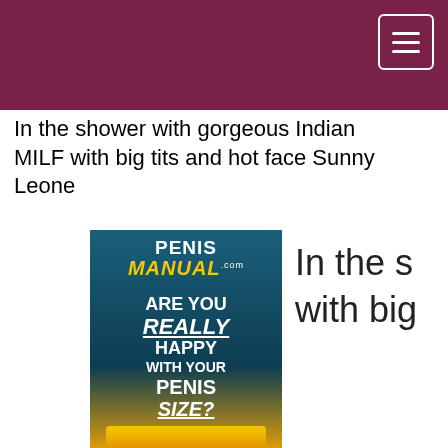In the shower with gorgeous Indian MILF with big tits and hot face Sunny Leone
[Figure (advertisement): Penis Manual .com advertisement banner: 'ARE YOU REALLY HAPPY WITH YOUR PENIS SIZE?' with yellow CTA button]
In the s... with big...